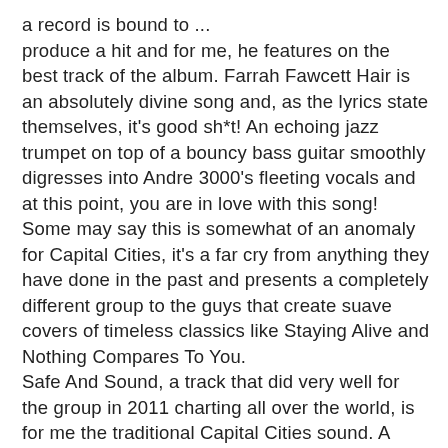a record is bound to ... produce a hit and for me, he features on the best track of the album. Farrah Fawcett Hair is an absolutely divine song and, as the lyrics state themselves, it's good sh*t! An echoing jazz trumpet on top of a bouncy bass guitar smoothly digresses into Andre 3000's fleeting vocals and at this point, you are in love with this song! Some may say this is somewhat of an anomaly for Capital Cities, it's a far cry from anything they have done in the past and presents a completely different group to the guys that create suave covers of timeless classics like Staying Alive and Nothing Compares To You. Safe And Sound, a track that did very well for the group in 2011 charting all over the world, is for me the traditional Capital Cities sound. A pulsating synth reverberates throughout most of the track, adding that upbeat edge that the band so brilliantly captivates. Utilising the trumpet once more, Capital Cities provide a  well rounded musical edge, covering almost every scale of the electro-indie, alternative spectrum. I Sold My Bed, But Not My Stereo, again contains all of the above; bouncy melody, enigmatic synths and a tittering beat that is sure to make you tap your feet.